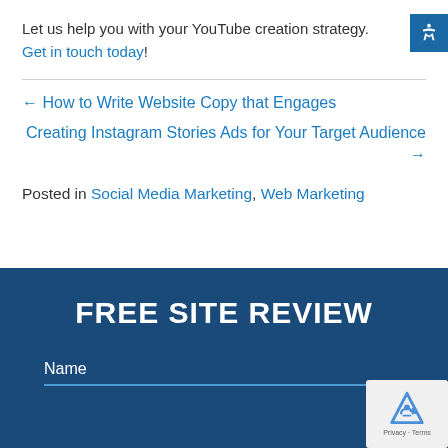Let us help you with your YouTube creation strategy. Get in touch today!
← How to Write Website Copy that Engages
Creating Instagram Stories Ads for Your Target Audience →
Posted in Social Media Marketing, Web Marketing
FREE SITE REVIEW
Name